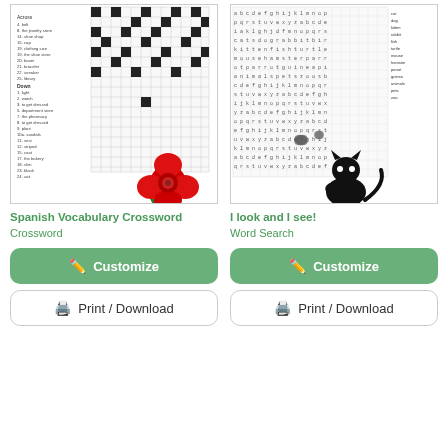[Figure (illustration): Thumbnail of Spanish Vocabulary Crossword puzzle worksheet with a red rose illustration]
[Figure (illustration): Thumbnail of I look and I see! Word Search puzzle with a kitten and butterflies illustration]
Spanish Vocabulary Crossword
Crossword
I look and I see!
Word Search
Customize
Customize
Print / Download
Print / Download